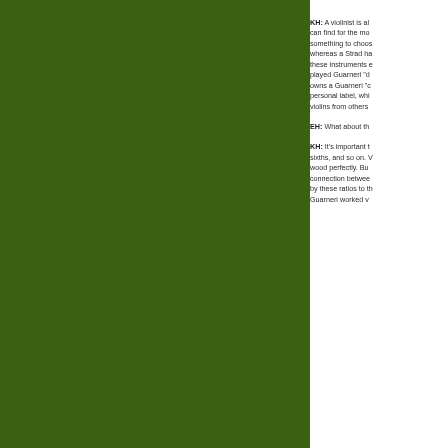[Figure (photo): Dark olive/forest green rectangular panel occupying the left approximately 69% of the page]
KH: A violinist is a... can find for the mo... something to choos... whereas a Strad ha... these instruments ... played Guarneri "d... owns a Guarneri "c... personal label, whi... violins from others...
EH: What about th...
KH: It's important t... sixths, and so on. V... wood perfectly. Bu... connection betwee... by these ratios to th... Guarneri worked v...